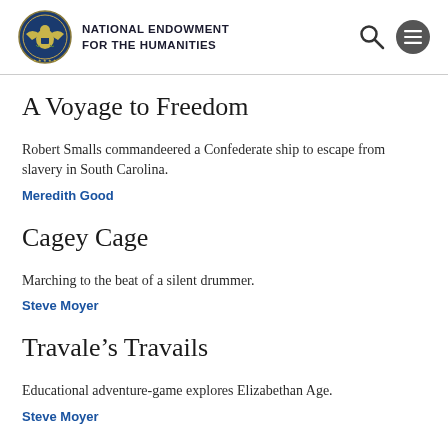NATIONAL ENDOWMENT FOR THE HUMANITIES
A Voyage to Freedom
Robert Smalls commandeered a Confederate ship to escape from slavery in South Carolina.
Meredith Good
Cagey Cage
Marching to the beat of a silent drummer.
Steve Moyer
Travale’s Travails
Educational adventure-game explores Elizabethan Age.
Steve Moyer
Kingly Pursuits